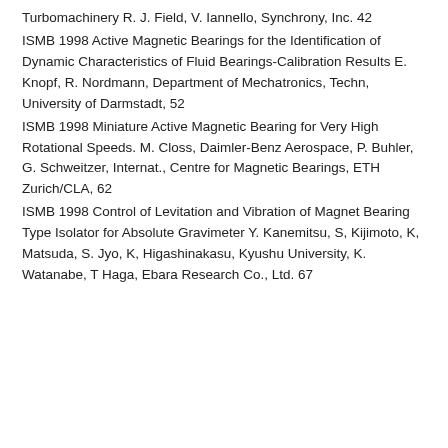Turbomachinery R. J. Field, V. Iannello, Synchrony, Inc. 42
ISMB 1998 Active Magnetic Bearings for the Identification of Dynamic Characteristics of Fluid Bearings-Calibration Results E. Knopf, R. Nordmann, Department of Mechatronics, Techn, University of Darmstadt, 52
ISMB 1998 Miniature Active Magnetic Bearing for Very High Rotational Speeds. M. Closs, Daimler-Benz Aerospace, P. Buhler, G. Schweitzer, Internat., Centre for Magnetic Bearings, ETH Zurich/CLA, 62
ISMB 1998 Control of Levitation and Vibration of Magnet Bearing Type Isolator for Absolute Gravimeter Y. Kanemitsu, S, Kijimoto, K, Matsuda, S. Jyo, K, Higashinakasu, Kyushu University, K. Watanabe, T Haga, Ebara Research Co., Ltd. 67